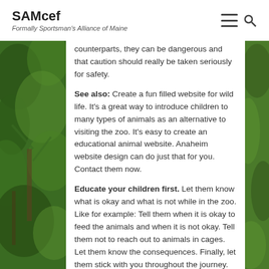SAMcef – Formally Sportsman's Alliance of Maine
counterparts, they can be dangerous and that caution should really be taken seriously for safety.
See also: Create a fun filled website for wild life. It's a great way to introduce children to many types of animals as an alternative to visiting the zoo. It's easy to create an educational animal website. Anaheim website design can do just that for you. Contact them now.
Educate your children first. Let them know what is okay and what is not while in the zoo. Like for example: Tell them when it is okay to feed the animals and when it is not okay. Tell them not to reach out to animals in cages. Let them know the consequences. Finally, let them stick with you throughout the journey.
What to bring on your trip to the zoo?
Hats and sunscreens are some things you ought to bring for your children. These things can help protect